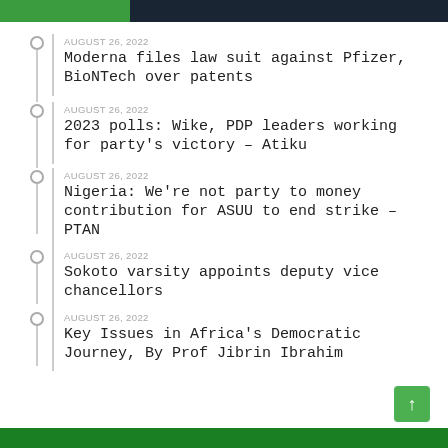AUGUST 26, 2022 — Moderna files law suit against Pfizer, BioNTech over patents
AUGUST 26, 2022 — 2023 polls: Wike, PDP leaders working for party's victory – Atiku
AUGUST 26, 2022 — Nigeria: We're not party to money contribution for ASUU to end strike – PTAN
AUGUST 26, 2022 — Sokoto varsity appoints deputy vice chancellors
AUGUST 26, 2022 — Key Issues in Africa's Democratic Journey, By Prof Jibrin Ibrahim